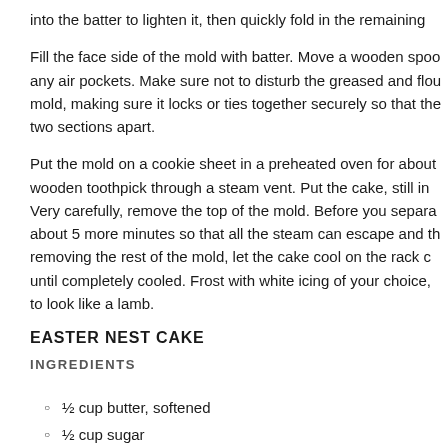into the batter to lighten it, then quickly fold in the remaining
Fill the face side of the mold with batter. Move a wooden spoon through any air pockets. Make sure not to disturb the greased and floured mold, making sure it locks or ties together securely so that the two sections apart.
Put the mold on a cookie sheet in a preheated oven for about wooden toothpick through a steam vent. Put the cake, still in Very carefully, remove the top of the mold. Before you separate about 5 more minutes so that all the steam can escape and the removing the rest of the mold, let the cake cool on the rack until completely cooled. Frost with white icing of your choice, to look like a lamb.
EASTER NEST CAKE
INGREDIENTS
½ cup butter, softened
½ cup sugar